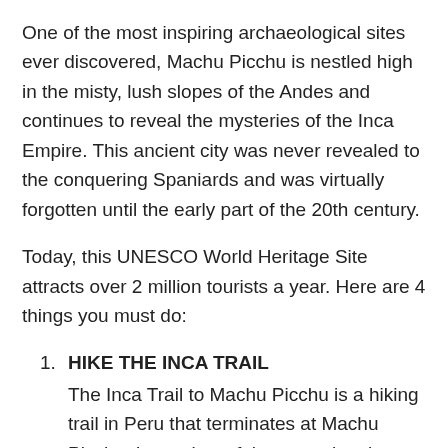One of the most inspiring archaeological sites ever discovered, Machu Picchu is nestled high in the misty, lush slopes of the Andes and continues to reveal the mysteries of the Inca Empire. This ancient city was never revealed to the conquering Spaniards and was virtually forgotten until the early part of the 20th century.
Today, this UNESCO World Heritage Site attracts over 2 million tourists a year. Here are 4 things you must do:
HIKE THE INCA TRAIL
The Inca Trail to Machu Picchu is a hiking trail in Peru that terminates at Machu Picchu. It consists of three overlapping trails: Mollepata, Classic and One Day. Mollepata is the longest of the three routes with the highest mountain pass and intersects with the Classic route before crossing Warmiwañusqa.